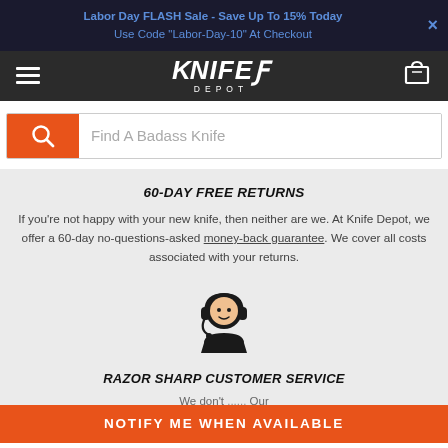Labor Day FLASH Sale - Save Up To 15% Today
Use Code "Labor-Day-10" At Checkout
[Figure (logo): Knife Depot logo with hamburger menu and cart icon on dark navigation bar]
[Figure (screenshot): Search bar with orange search icon button and placeholder text 'Find A Badass Knife']
60-DAY FREE RETURNS
If you're not happy with your new knife, then neither are we. At Knife Depot, we offer a 60-day no-questions-asked money-back guarantee. We cover all costs associated with your returns.
[Figure (illustration): Customer service representative icon - person with headset]
RAZOR SHARP CUSTOMER SERVICE
We don't ... Our cutting-edge ... 0-248-1997
NOTIFY ME WHEN AVAILABLE